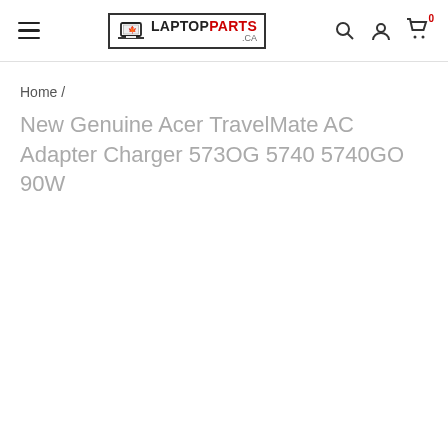LaptopParts.ca header with hamburger menu, logo, search, account, and cart icons
Home /
New Genuine Acer TravelMate AC Adapter Charger 573OG 5740 5740GO 90W